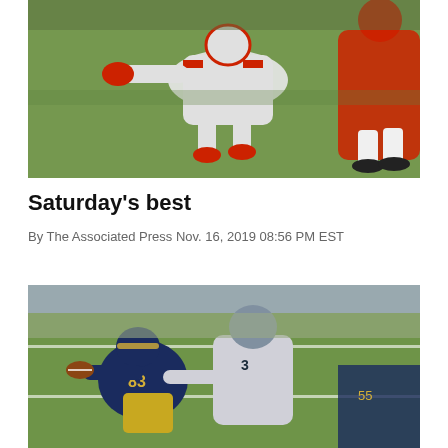[Figure (photo): Football action photo showing players in white uniforms diving on green grass field, red accents visible on uniforms and shoes]
Saturday's best
By The Associated Press Nov. 16, 2019 08:56 PM EST
[Figure (photo): College football game photo showing Notre Dame player #83 in navy uniform catching or fighting for ball while defender in white uniform reaches to defend, gold pants visible, crowd in stadium background]